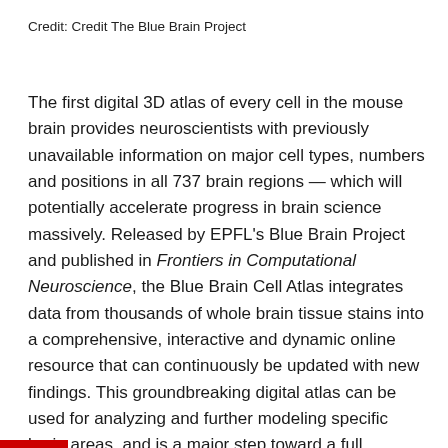Credit: Credit The Blue Brain Project
The first digital 3D atlas of every cell in the mouse brain provides neuroscientists with previously unavailable information on major cell types, numbers and positions in all 737 brain regions — which will potentially accelerate progress in brain science massively. Released by EPFL's Blue Brain Project and published in Frontiers in Computational Neuroscience, the Blue Brain Cell Atlas integrates data from thousands of whole brain tissue stains into a comprehensive, interactive and dynamic online resource that can continuously be updated with new findings. This groundbreaking digital atlas can be used for analyzing and further modeling specific brain areas, and is a major step toward a full simulation of the